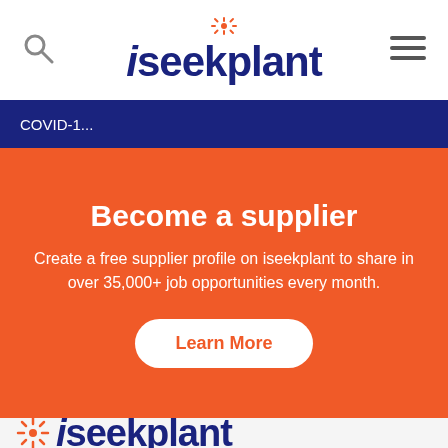iseekplant
COVID-1...
Become a supplier
Create a free supplier profile on iseekplant to share in over 35,000+ job opportunities every month.
Learn More
[Figure (logo): iseekplant logo at bottom of page]